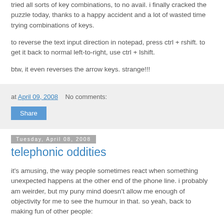tried all sorts of key combinations, to no avail. i finally cracked the puzzle today, thanks to a happy accident and a lot of wasted time trying combinations of keys.
to reverse the text input direction in notepad, press ctrl + rshift. to get it back to normal left-to-right, use ctrl + lshift.
btw, it even reverses the arrow keys. strange!!!
at April 09, 2008    No comments:
Share
Tuesday, April 08, 2008
telephonic oddities
it's amusing, the way people sometimes react when something unexpected happens at the other end of the phone line. i probably am weirder, but my puny mind doesn't allow me enough of objectivity for me to see the humour in that. so yeah, back to making fun of other people: